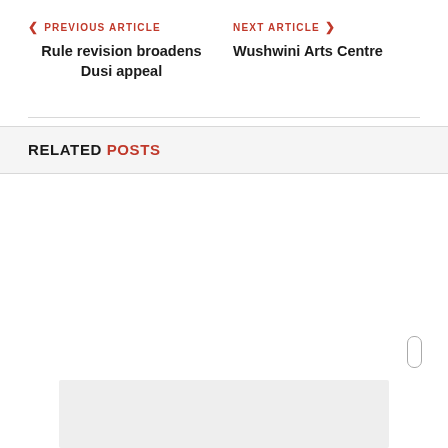PREVIOUS ARTICLE | NEXT ARTICLE
Rule revision broadens Dusi appeal
Wushwini Arts Centre
RELATED POSTS